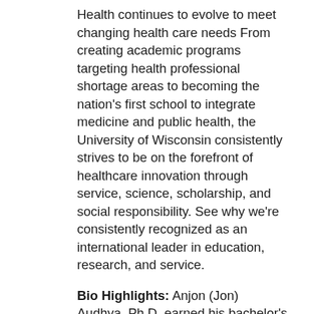Health continues to evolve to meet changing health care needs From creating academic programs targeting health professional shortage areas to becoming the nation's first school to integrate medicine and public health, the University of Wisconsin consistently strives to be on the forefront of healthcare innovation through service, science, scholarship, and social responsibility. See why we're consistently recognized as an international leader in education, research, and service.
Bio Highlights: Anjon (Jon) Audhya, Ph.D. earned his bachelor's degree from Brown University in 1997, received his Ph.D. in biomedical sciences at the University of California, San Diego in 2002, followed by postdoctoral studies at the Ludwig Institute for Cancer Research from 2003 – 2007. Dr. Audhya joined the faculty of the UW-Madison Department of Biomolecular Chemistry in